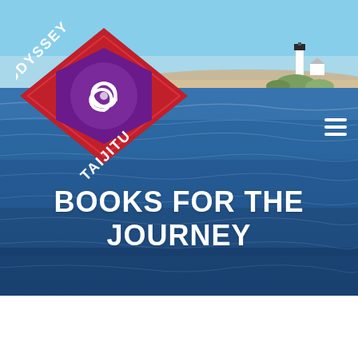[Figure (photo): Coastal seascape photograph with blue water in the foreground, a sandy spit of land in the middle distance, a white lighthouse with a dark top, and a clear blue sky. The image is the background banner of a website for Odyssey Taijitu bookstore.]
[Figure (logo): Odyssey Taijitu logo: a red diamond shape with a purple hexagon inside, containing a triskelion spiral symbol in white/purple tones, with the text 'ODYSSEY' written vertically and 'TAIJITU' written vertically in white, flanking the emblem in a diagonal arrangement.]
BOOKS FOR THE JOURNEY